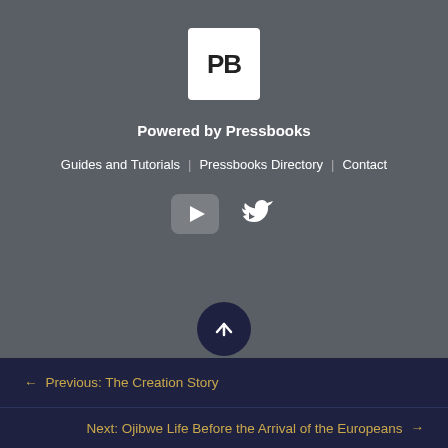[Figure (logo): Pressbooks logo: white square with bold black letters PB]
Powered by Pressbooks
Guides and Tutorials | Pressbooks Directory | Contact
[Figure (illustration): Social media icons: YouTube play button and Twitter bird, white on rounded square backgrounds]
[Figure (illustration): Scroll to top button: dark navy circle with white upward arrow]
← Previous: The Creation Story
Next: Ojibwe Life Before the Arrival of the Europeans →